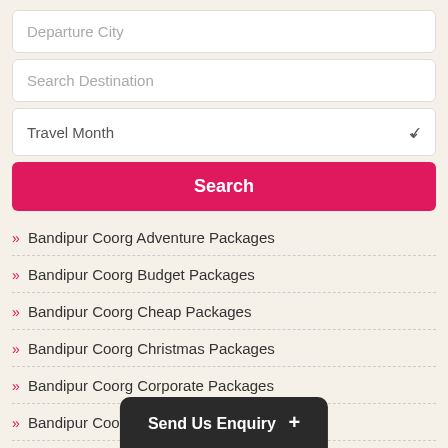Departure City
Search Destination
Travel Month
Search
» Bandipur Coorg Adventure Packages
» Bandipur Coorg Budget Packages
» Bandipur Coorg Cheap Packages
» Bandipur Coorg Christmas Packages
» Bandipur Coorg Corporate Packages
» Bandipur Coorg Couple Packages
» Bandipur Coorg Diwali Packages
» Bandipur Coorg Durga Puja Packages
» Bandipur Coorg Family
» Bandipur Coorg Group
Send Us Enquiry +